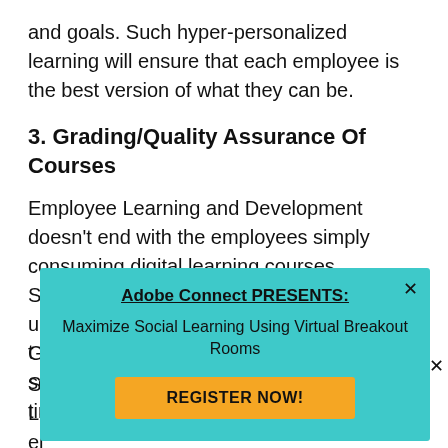and goals. Such hyper-personalized learning will ensure that each employee is the best version of what they can be.
3. Grading/Quality Assurance Of Courses
Employee Learning and Development doesn’t end with the employees simply consuming digital learning courses. Somebody has to grade them, which, up until now, could only be done by a human. Grading the courses of hundreds–sometimes thousands–of employees takes time, especially if t
[Figure (screenshot): Adobe Connect popup overlay with teal background. Title: 'Adobe Connect PRESENTS:' (bold, underlined). Subtitle: 'Maximize Social Learning Using Virtual Breakout Rooms'. Button: 'REGISTER NOW!' in yellow/orange. Close X in top right corner.]
Su Le el